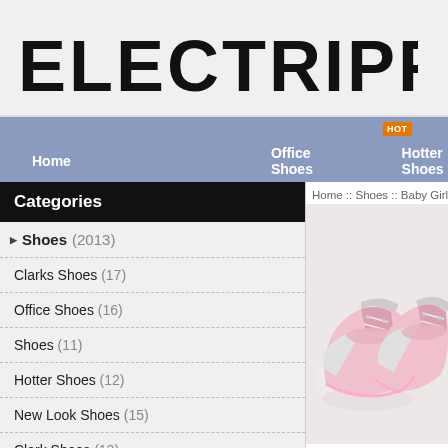ELECTRIPPER
Home  Office Shoes  Hotter Shoes
Home :: Shoes :: Baby Girl Shoes :: baby
Categories
Shoes (2013)
Clarks Shoes (17)
Office Shoes (16)
Shoes (11)
Hotter Shoes (12)
New Look Shoes (15)
Clark Shoes (13)
Shoes For Men (11)
[Figure (photo): Two pink and silver baby girl sneakers/crib shoes on a white background]